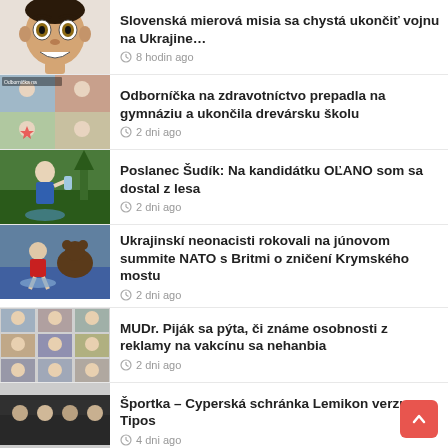Slovenská mierová misia sa chystá ukončiť vojnu na Ukrajine… · 8 hodin ago
Odborníčka na zdravotníctvo prepadla na gymnáziu a ukončila drevársku školu · 2 dni ago
Poslanec Šudík: Na kandidátku OĽANO som sa dostal z lesa · 2 dni ago
Ukrajinskí neonacisti rokovali na júnovom summite NATO s Britmi o zničení Krymského mostu · 2 dni ago
MUDr. Piják sa pýta, či známe osobnosti z reklamy na vakcínu sa nehanbia · 2 dni ago
Športka – Cyperská schránka Lemikon verzus Tipos · 4 dni ago